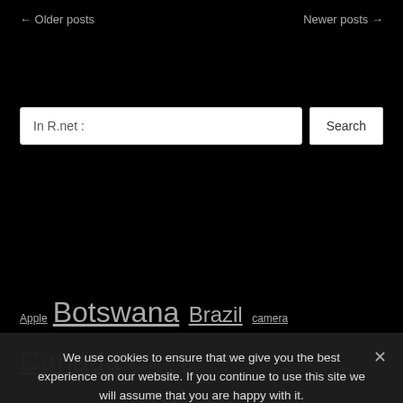← Older posts    Newer posts →
In R.net :
Search
Apple Botswana Brazil camera Canada Canon car Cheetah Costa Rica download eagle elephant Falkland Islands gps free fun Ngorongoro Nikon Nikon Optical illusion Photo polar bear Scotland Serengeti Sony
We use cookies to ensure that we give you the best experience on our website. If you continue to use this site we will assume that you are happy with it.
OK